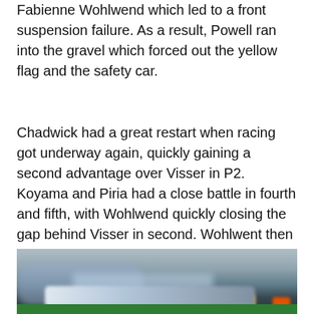Fabienne Wohlwend which led to a front suspension failure. As a result, Powell ran into the gravel which forced out the yellow flag and the safety car.
Chadwick had a great restart when racing got underway again, quickly gaining a second advantage over Visser in P2. Koyama and Piria had a close battle in fourth and fifth, with Wohlwend quickly closing the gap behind Visser in second. Wohlwent then went wide before the start finish straight, losing a little time, but managed to close back up to the rear wing of Visser.
[Figure (photo): Blurred action photograph of a racing car on track, with motion blur effect, green barrier visible at the bottom, taken at speed during a race]